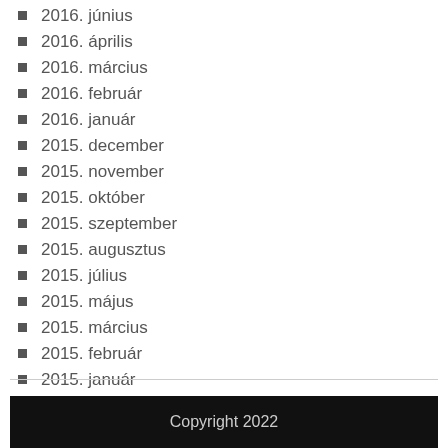2016. június
2016. április
2016. március
2016. február
2016. január
2015. december
2015. november
2015. október
2015. szeptember
2015. augusztus
2015. július
2015. május
2015. március
2015. február
2015. január
Copyright 2022